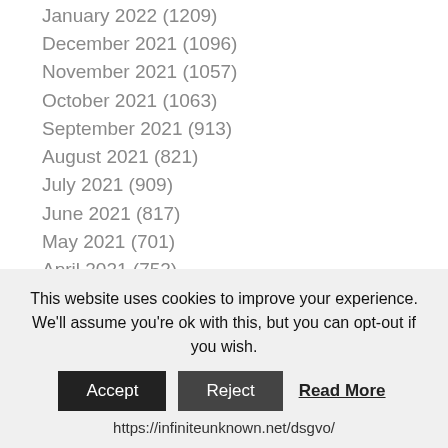January 2022 (1209)
December 2021 (1096)
November 2021 (1057)
October 2021 (1063)
September 2021 (913)
August 2021 (821)
July 2021 (909)
June 2021 (817)
May 2021 (701)
April 2021 (752)
March 2021 (696)
February 2021 (417)
January 2021 (334)
December 2020 (222)
November 2020 (202)
This website uses cookies to improve your experience. We'll assume you're ok with this, but you can opt-out if you wish.
Accept | Reject | Read More
https://infiniteunknown.net/dsgvo/